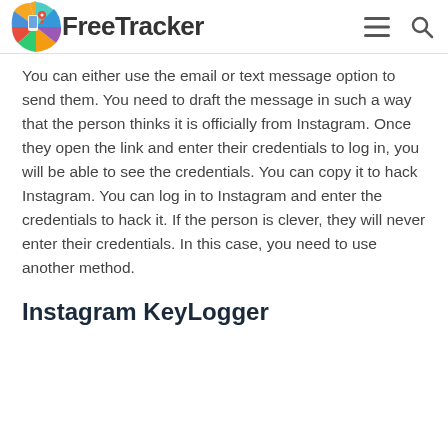FreeTracker
You can either use the email or text message option to send them. You need to draft the message in such a way that the person thinks it is officially from Instagram. Once they open the link and enter their credentials to log in, you will be able to see the credentials. You can copy it to hack Instagram. You can log in to Instagram and enter the credentials to hack it. If the person is clever, they will never enter their credentials. In this case, you need to use another method.
Instagram KeyLogger